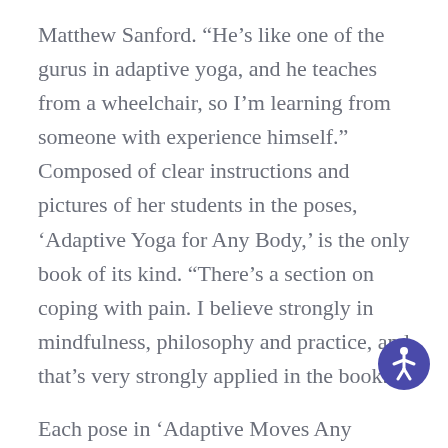Matthew Sanford. “He’s like one of the gurus in adaptive yoga, and he teaches from a wheelchair, so I’m learning from someone with experience himself.” Composed of clear instructions and pictures of her students in the poses, ‘Adaptive Yoga for Any Body,’ is the only book of its kind. “There’s a section on coping with pain. I believe strongly in mindfulness, philosophy and practice, and that’s very strongly applied in the book.”
[Figure (other): Accessibility icon: a circular blue/purple button with a white person figure (ISA accessibility symbol)]
Each pose in ‘Adaptive Moves Any Body’